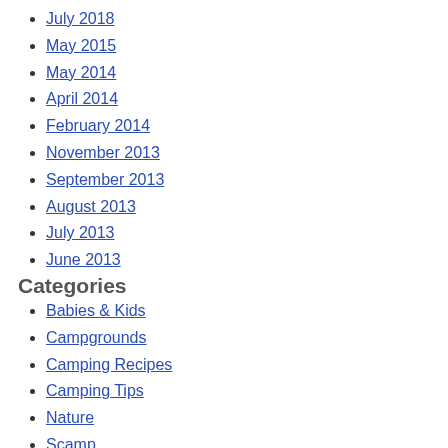July 2018
May 2015
May 2014
April 2014
February 2014
November 2013
September 2013
August 2013
July 2013
June 2013
Categories
Babies & Kids
Campgrounds
Camping Recipes
Camping Tips
Nature
Scamp
© Copyright The Camp Gal 2021. Powered by WordPress. Designed by BluChic